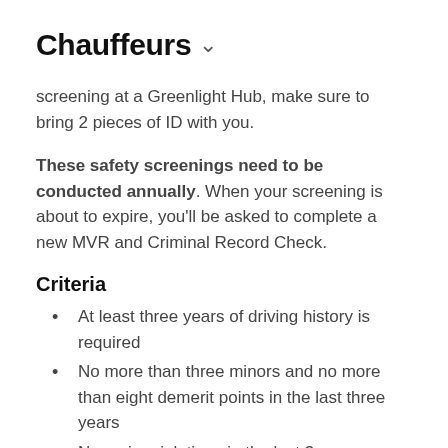Chauffeurs
screening at a Greenlight Hub, make sure to bring 2 pieces of ID with you.
These safety screenings need to be conducted annually. When your screening is about to expire, you'll be asked to complete a new MVR and Criminal Record Check.
Criteria
At least three years of driving history is required
No more than three minors and no more than eight demerit points in the last three years
No major violations in the last 3 years
No suspensions other than those due